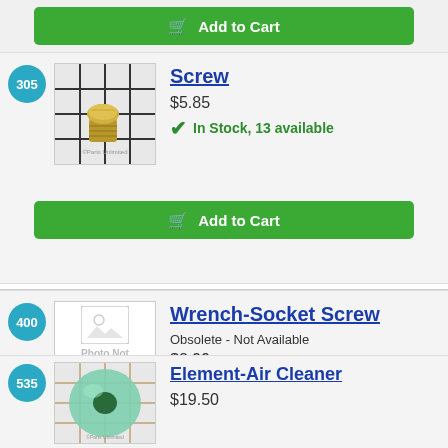[Figure (screenshot): Add to Cart green button at top of page]
305 Screw $5.85 In Stock, 13 available
[Figure (photo): Photo of a gold hex-head screw on grid background]
[Figure (screenshot): Add to Cart green button below item 305]
400 Wrench-Socket Screw Obsolete - Not Available $2.99 Discontinued
[Figure (photo): Photo Not Available placeholder image]
535 Element-Air Cleaner $19.50
[Figure (photo): Photo of a green donut-shaped air cleaner element on grid background]